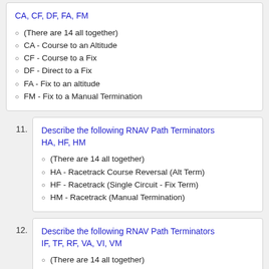CA, CF, DF, FA, FM
(There are 14 all together)
CA - Course to an Altitude
CF - Course to a Fix
DF - Direct to a Fix
FA - Fix to an altitude
FM - Fix to a Manual Termination
Describe the following RNAV Path Terminators HA, HF, HM
(There are 14 all together)
HA - Racetrack Course Reversal (Alt Term)
HF - Racetrack (Single Circuit - Fix Term)
HM - Racetrack (Manual Termination)
Describe the following RNAV Path Terminators IF, TF, RF, VA, VI, VM
(There are 14 all together)
IF - Initial Fix